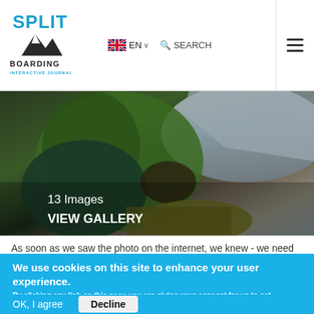[Figure (logo): Splitboarding Interactive Journal logo with blue text and mountain icon]
EN ∨
🔍 SEARCH
[Figure (photo): Person in green jacket sitting on snowy/rocky terrain, 13 Images, VIEW GALLERY]
13 Images
VIEW GALLERY
As soon as we saw the photo on the internet, we knew - we need
We use cookies on this site to enhance your user experience.
By clicking any link on this page you are giving your consent for us to set cookies. Privacy Policy
OK, I agree
Decline